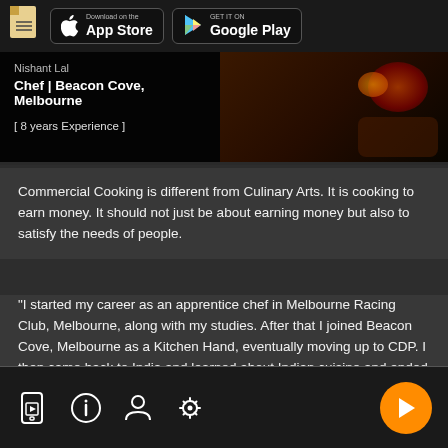[Figure (screenshot): App store download buttons: Download on the App Store and Get it on Google Play, with a document icon on the left]
Nishant Lal
Chef | Beacon Cove, Melbourne
[ 8 years Experience ]
Commercial Cooking is different from Culinary Arts. It is cooking to earn money. It should not just be about earning money but also to satisfy the needs of people.
"I started my career as an apprentice chef in Melbourne Racing Club, Melbourne, along with my studies. After that I joined Beacon Cove, Melbourne as a Kitchen Hand, eventually moving up to CDP. I then came back to India and learned about Indian cuisine and ended up as a chef."
[Figure (screenshot): Bottom navigation bar with icons: video player, info, person, settings/equalizer, and an orange play button on the right]